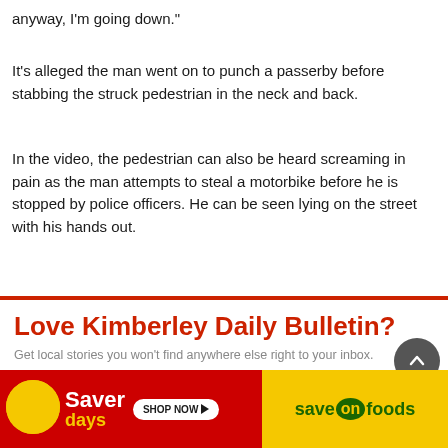anyway, I’m going down.”
It’s alleged the man went on to punch a passerby before stabbing the struck pedestrian in the neck and back.
In the video, the pedestrian can also be heard screaming in pain as the man attempts to steal a motorbike before he is stopped by police officers. He can be seen lying on the street with his hands out.
[Figure (infographic): Newsletter subscription prompt for Kimberley Daily Bulletin with title 'Love Kimberley Daily Bulletin?' and subtitle 'Get local stories you won’t find anywhere else right to your inbox.' with a scroll-to-top button and a Saver Days / Save On Foods banner advertisement.]